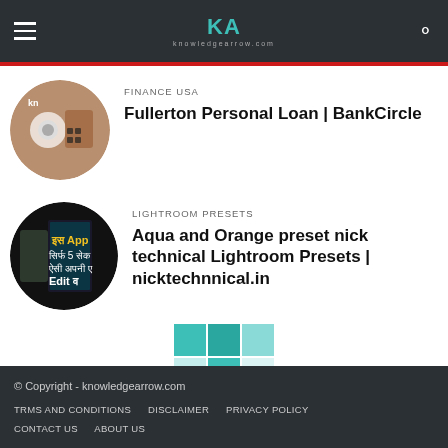KA knowledgearrow.com
FINANCE USA
Fullerton Personal Loan | BankCircle
LIGHTROOM PRESETS
Aqua and Orange preset nick technical Lightroom Presets | nicktechnnical.in
© Copyright - knowledgearrow.com
TRMS AND CONDITIONS   DISCLAIMER   PRIVACY POLICY
CONTACT US   ABOUT US